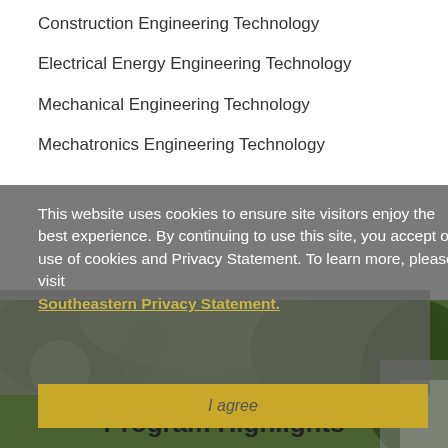Construction Engineering Technology
Electrical Energy Engineering Technology
Mechanical Engineering Technology
Mechatronics Engineering Technology
This website uses cookies to ensure site visitors enjoy the best experience. By continuing to use this site, you accept our use of cookies and Privacy Statement. To learn more, please visit Southeastern Privacy Statement.
I agree
Program Highlights